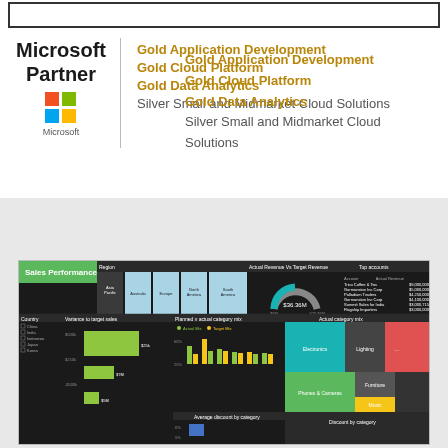[Figure (logo): Microsoft Partner logo with colored squares and text showing Microsoft Partner wordmark]
Gold Application Development
Gold Cloud Platform
Gold Data Analytics
Silver Small and Midmarket Cloud Solutions
[Figure (screenshot): Sales Performance Power BI dashboard screenshot showing regions, gauge chart with $36.36M, top accounts, country list, variance to target sales bar chart, planned vs actual category mix bar chart, actual category mix treemap, and average discount by category chart]